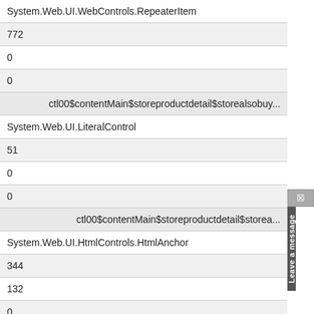| System.Web.UI.WebControls.RepeaterItem |
| 772 |
| 0 |
| 0 |
| ctl00$contentMain$storeproductdetail$storealsobuy... |
| System.Web.UI.LiteralControl |
| 51 |
| 0 |
| 0 |
| ctl00$contentMain$storeproductdetail$storea... |
| System.Web.UI.HtmlControls.HtmlAnchor |
| 344 |
| 132 |
| 0 |
| ctl00$contentMain$storeproductdetail$storealsobo... |